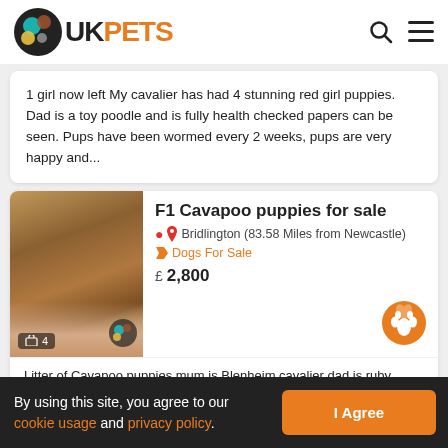[Figure (logo): UKPets logo with circular animal icon and orange PETS text]
1 girl now left My cavalier has had 4 stunning red girl puppies. Dad is a toy poodle and is fully health checked papers can be seen. Pups have been wormed every 2 weeks, pups are very happy and...
F1 Cavapoo puppies for sale
Bridlington (83.58 Miles from Newcastle)
Dogs For Sale
£  2,800
[Figure (photo): Close-up photo of a newborn Cavapoo puppy being held in a hand, brownish color]
Litter of Cavapoo puppies mum is Blenheim cavalier dad is ruby poodle he is kc and pra Clear these puppies will be raised in a family
By using this site, you agree to our cookie usage and privacy policy.